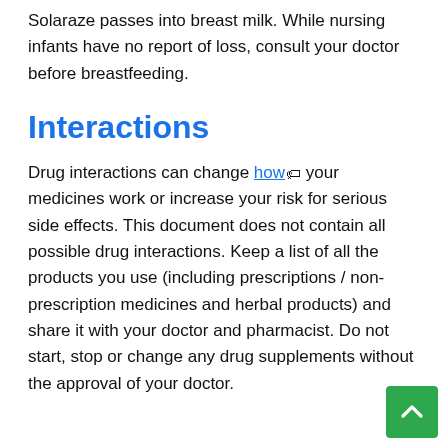Solaraze passes into breast milk. While nursing infants have no report of loss, consult your doctor before breastfeeding.
Interactions
Drug interactions can change how your medicines work or increase your risk for serious side effects. This document does not contain all possible drug interactions. Keep a list of all the products you use (including prescriptions / non-prescription medicines and herbal products) and share it with your doctor and pharmacist. Do not start, stop or change any drug supplements without the approval of your doctor.